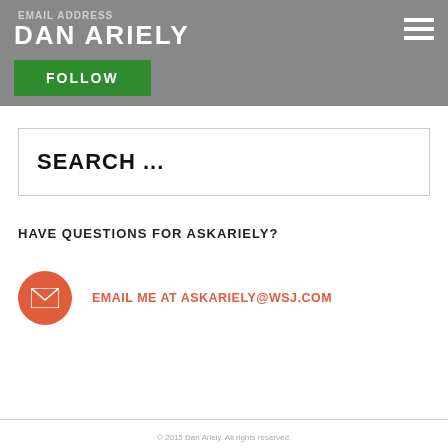EMAIL ADDRESS
DAN ARIELY
FOLLOW
SEARCH ...
HAVE QUESTIONS FOR ASKARIELY?
EMAIL ME AT ASKARIELY@WSJ.COM
© 2015 Dan Ariely. All rights reserved.